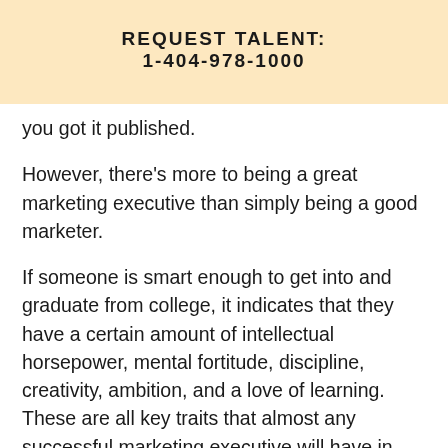REQUEST TALENT:
1-404-978-1000
you got it published.
However, there's more to being a great marketing executive than simply being a good marketer.
If someone is smart enough to get into and graduate from college, it indicates that they have a certain amount of intellectual horsepower, mental fortitude, discipline, creativity, ambition, and a love of learning. These are all key traits that almost any successful marketing executive will have in spades, and you should be looking for them during your marketing executive recruitment.
The Kinds of Degrees That are Most